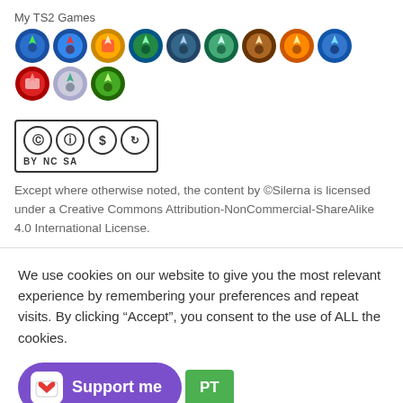My TS2 Games
[Figure (illustration): Row of Sims 2 game expansion pack icons (colored circular logos)]
[Figure (logo): Creative Commons BY NC SA license badge]
Except where otherwise noted, the content by ©Silerna is licensed under a Creative Commons Attribution-NonCommercial-ShareAlike 4.0 International License.
We use cookies on our website to give you the most relevant experience by remembering your preferences and repeat visits. By clicking “Accept”, you consent to the use of ALL the cookies.
[Figure (illustration): Purple 'Support me' Ko-fi button and green 'Accept' cookie consent button]